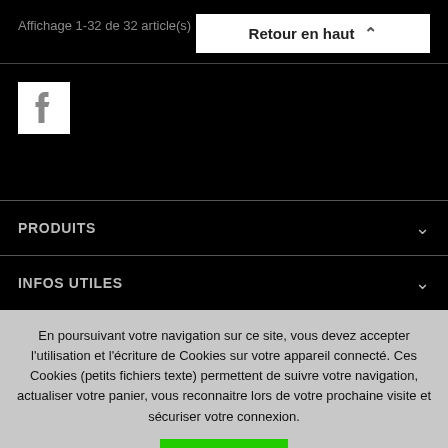Affichage 1-32 de 32 article(s)
Retour en haut ∧
[Figure (logo): Facebook icon white on white square background]
PRODUITS
INFOS UTILES
En poursuivant votre navigation sur ce site, vous devez accepter l'utilisation et l'écriture de Cookies sur votre appareil connecté. Ces Cookies (petits fichiers texte) permettent de suivre votre navigation, actualiser votre panier, vous reconnaitre lors de votre prochaine visite et sécuriser votre connexion.
J'accepte